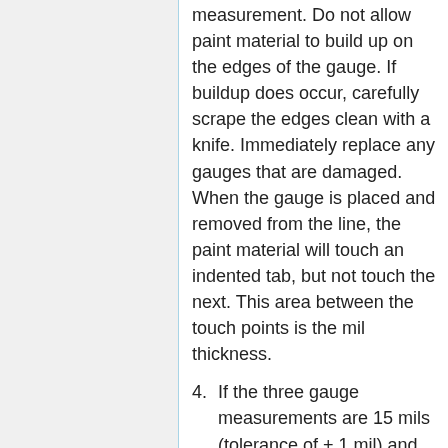measurement. Do not allow paint material to build up on the edges of the gauge. If buildup does occur, carefully scrape the edges clean with a knife. Immediately replace any gauges that are damaged. When the gauge is placed and removed from the line, the paint material will touch an indented tab, but not touch the next. This area between the touch points is the mil thickness.
4. If the three gauge measurements are 15 mils (tolerance of + 1 mil) and the line is the appropriate width (tolerance of + 0.25 inch), the vehicle is certified for that